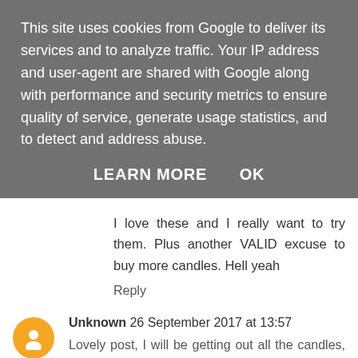This site uses cookies from Google to deliver its services and to analyze traffic. Your IP address and user-agent are shared with Google along with performance and security metrics to ensure quality of service, generate usage statistics, and to detect and address abuse.
LEARN MORE   OK
I love these and I really want to try them. Plus another VALID excuse to buy more candles. Hell yeah
Reply
Unknown 26 September 2017 at 13:57
Lovely post, I will be getting out all the candles, pillows and blankets myself for a cozy hygge